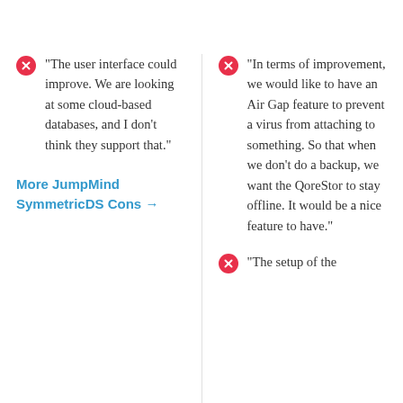"The user interface could improve. We are looking at some cloud-based databases, and I don't think they support that."
More JumpMind SymmetricDS Cons →
"In terms of improvement, we would like to have an Air Gap feature to prevent a virus from attaching to something. So that when we don't do a backup, we want the QoreStor to stay offline. It would be a nice feature to have."
"The setup of the